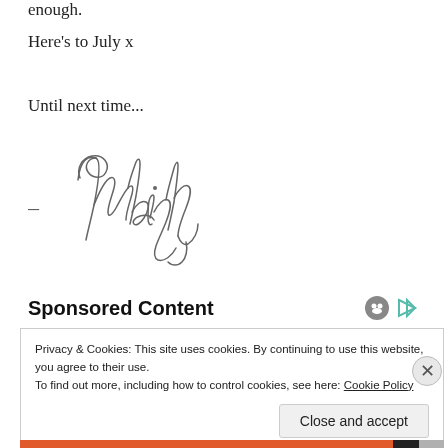enough.
Here’s to July x
Until next time...
[Figure (illustration): Handwritten cursive signature reading ‘Ashleigh’ with a dash preceding it]
Sponsored Content
Privacy & Cookies: This site uses cookies. By continuing to use this website, you agree to their use.
To find out more, including how to control cookies, see here: Cookie Policy
Close and accept